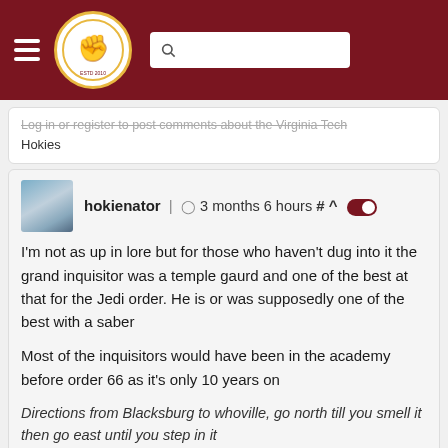The Key Play navigation bar with logo and search
Log in or register to post comments about the Virginia Tech Hokies
hokienator | 3 months 6 hours # ^
I'm not as up in lore but for those who haven't dug into it the grand inquisitor was a temple gaurd and one of the best at that for the Jedi order. He is or was supposedly one of the best with a saber
Most of the inquisitors would have been in the academy before order 66 as it's only 10 years on
Directions from Blacksburg to whoville, go north till you smell it then go east until you step in it
Log in or register to post comments about the Virginia Tech Hokies